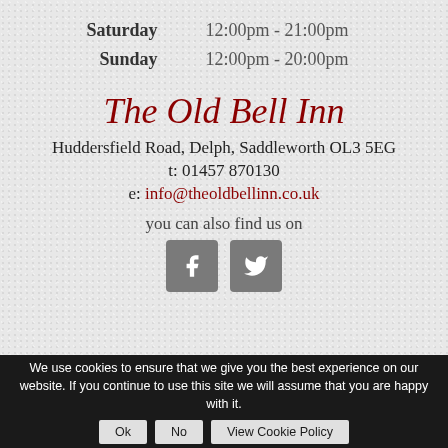Saturday   12:00pm - 21:00pm
Sunday   12:00pm - 20:00pm
The Old Bell Inn
Huddersfield Road, Delph, Saddleworth OL3 5EG
t: 01457 870130
e: info@theoldbellinn.co.uk
you can also find us on
[Figure (infographic): Facebook and Twitter social media icons (grey square buttons with white f and bird logos)]
We use cookies to ensure that we give you the best experience on our website. If you continue to use this site we will assume that you are happy with it.